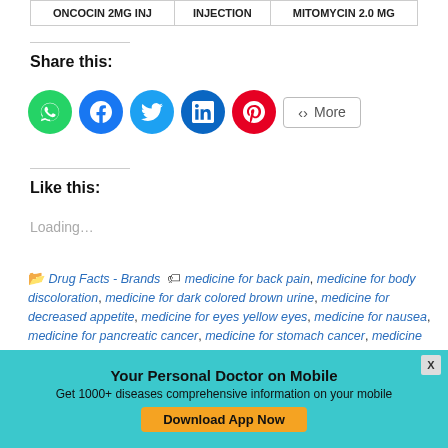| ONCOCIN 2MG INJ | INJECTION | MITOMYCIN 2.0 MG |
Share this:
[Figure (other): Social share buttons: WhatsApp, Facebook, Twitter, LinkedIn, Pinterest, More]
Like this:
Loading...
Drug Facts - Brands   medicine for back pain, medicine for body discoloration, medicine for dark colored brown urine, medicine for decreased appetite, medicine for eyes yellow eyes, medicine for nausea, medicine for pancreatic cancer, medicine for stomach cancer, medicine for vomit, medicine for weight loss unintentional
Your Personal Doctor on Mobile
Get 1000+ diseases comprehensive information on your mobile
Download App Now